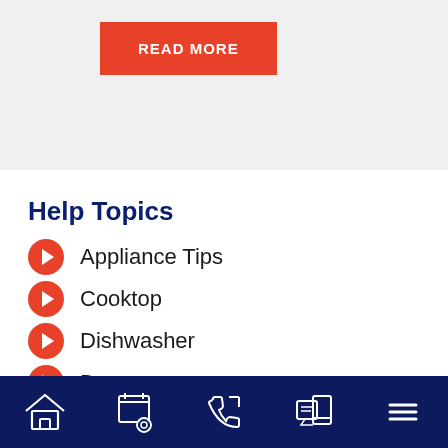[Figure (screenshot): Red READ MORE button on a light gray background banner]
Help Topics
Appliance Tips
Cooktop
Dishwasher
Dryer
Freezer
[Figure (screenshot): Dark navy bottom navigation bar with five icons: home, schedule/settings, phone, chat/mobile, and menu]